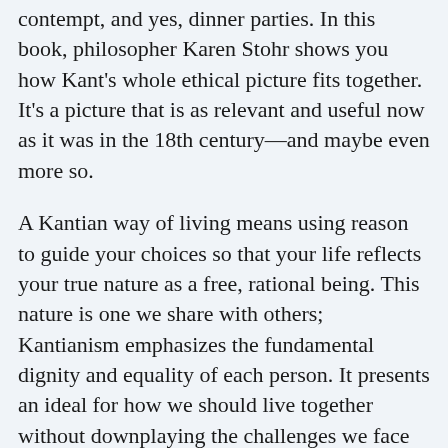contempt, and yes, dinner parties. In this book, philosopher Karen Stohr shows you how Kant's whole ethical picture fits together. It's a picture that is as relevant and useful now as it was in the 18th century—and maybe even more so.
A Kantian way of living means using reason to guide your choices so that your life reflects your true nature as a free, rational being. This nature is one we share with others; Kantianism emphasizes the fundamental dignity and equality of each person. It presents an ideal for how we should live together without downplaying the challenges we face in the actual world. Though realistic about human weaknesses, Kant remained optimistic about our